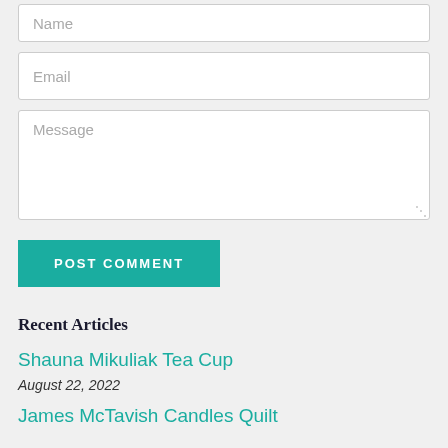[Figure (screenshot): Form input field with placeholder text 'Name']
[Figure (screenshot): Form input field with placeholder text 'Email']
[Figure (screenshot): Form textarea with placeholder text 'Message']
POST COMMENT
Recent Articles
Shauna Mikuliak Tea Cup
August 22, 2022
James McTavish Candles Quilt